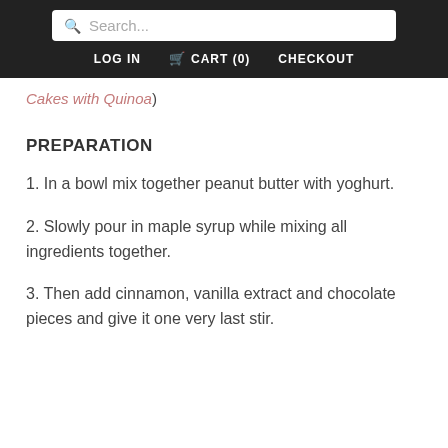Search... | LOG IN | CART (0) | CHECKOUT
Cakes with Quinoa)
PREPARATION
1. In a bowl mix together peanut butter with yoghurt.
2. Slowly pour in maple syrup while mixing all ingredients together.
3. Then add cinnamon, vanilla extract and chocolate pieces and give it one very last stir.